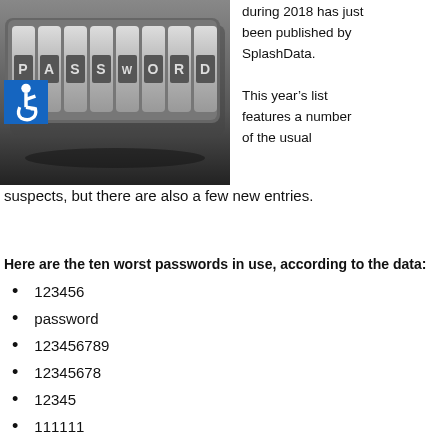[Figure (photo): A combination lock with letter dials spelling PASSWORD, photographed in black and white.]
during 2018 has just been published by SplashData.

This year's list features a number of the usual suspects, but there are also a few new entries.
Here are the ten worst passwords in use, according to the data:
123456
password
123456789
12345678
12345
111111